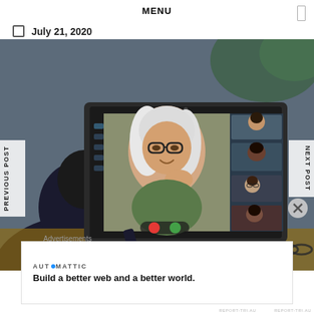MENU
July 21, 2020
[Figure (photo): Person viewed from behind looking at a laptop screen showing a video conference call with a smiling older woman with long white/gray hair and glasses as the main participant, and several other participants in smaller panels on the right side of the screen.]
PREVIOUS POST
NEXT POST
Advertisements
[Figure (other): Automattic advertisement box with logo text 'AUTOMATTIC' and tagline 'Build a better web and a better world.']